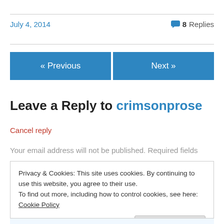July 4, 2014
8 Replies
« Previous
Next »
Leave a Reply to crimsonprose
Cancel reply
Your email address will not be published. Required fields
Privacy & Cookies: This site uses cookies. By continuing to use this website, you agree to their use. To find out more, including how to control cookies, see here: Cookie Policy
Close and accept